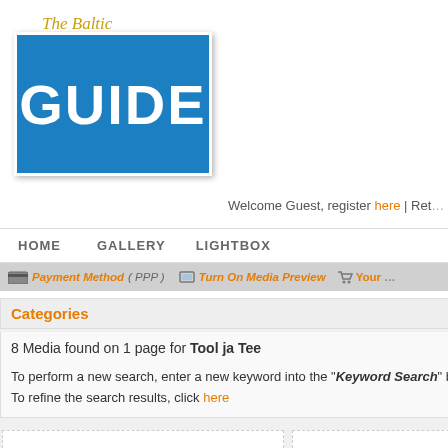[Figure (logo): The Baltic Guide logo: italic script 'The Baltic' in gold/yellow above a blue box with white bold text 'GUIDE']
Welcome Guest, register here | Ret…
HOME   GALLERY   LIGHTBOX
Payment Method ( PPP )   Turn On Media Preview   Your…
Categories
8 Media found on 1 page for Tool ja Tee   | 1 |
To perform a new search, enter a new keyword into the "Keyword Search" box
To refine the search results, click here
KEYWORD SE…
All Catego…
Image
Audio
RM
Advanced Se…
Private Galle…